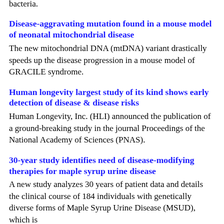bacteria.
Disease-aggravating mutation found in a mouse model of neonatal mitochondrial disease
The new mitochondrial DNA (mtDNA) variant drastically speeds up the disease progression in a mouse model of GRACILE syndrome.
Human longevity largest study of its kind shows early detection of disease & disease risks
Human Longevity, Inc. (HLI) announced the publication of a ground-breaking study in the journal Proceedings of the National Academy of Sciences (PNAS).
30-year study identifies need of disease-modifying therapies for maple syrup urine disease
A new study analyzes 30 years of patient data and details the clinical course of 184 individuals with genetically diverse forms of Maple Syrup Urine Disease (MSUD), which is